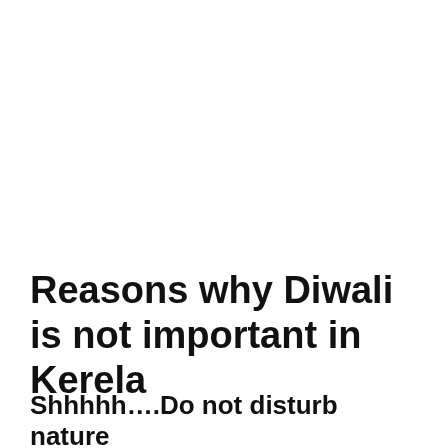Reasons why Diwali is not important in Kerela
Shhhhh….Do not disturb nature